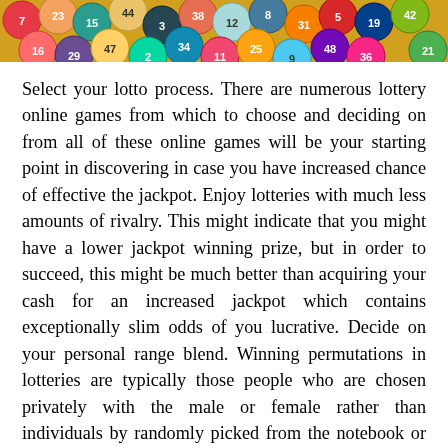[Figure (photo): Colorful lottery balls with numbers, clustered together, showing various colors including red, yellow, blue, green, orange, and purple.]
Select your lotto process. There are numerous lottery online games from which to choose and deciding on from all of these online games will be your starting point in discovering in case you have increased chance of effective the jackpot. Enjoy lotteries with much less amounts of rivalry. This might indicate that you might have a lower jackpot winning prize, but in order to succeed, this might be much better than acquiring your cash for an increased jackpot which contains exceptionally slim odds of you lucrative. Decide on your personal range blend. Winning permutations in lotteries are typically those people who are chosen privately with the male or female rather than individuals by randomly picked from the notebook or personal computer, so pick your personal numbers also. Even so, an essential component that additionally, you will have to